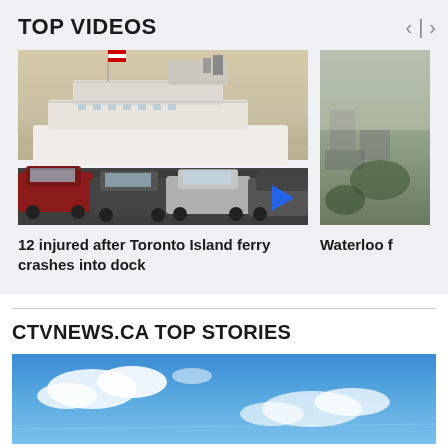TOP VIDEOS
[Figure (photo): A large ferry boat docked with cars parked in front, Canadian flag visible. Blue play button triangle in lower right corner.]
[Figure (photo): Aerial view of a city with trees and haze, partially visible on the right edge.]
12 injured after Toronto Island ferry crashes into dock
Waterloo f
CTVNEWS.CA TOP STORIES
[Figure (photo): Blue sky with clouds, partially visible at the bottom of the page.]